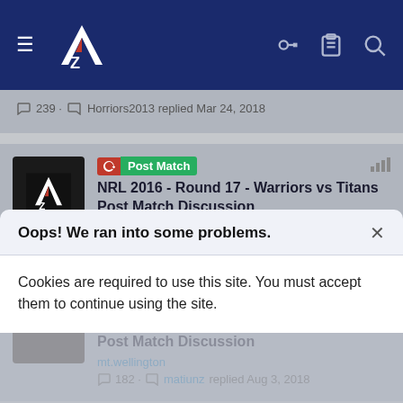[Figure (screenshot): NZ Warriors website navigation bar with hamburger menu, NZ Warriors logo, key icon, clipboard icon, and search icon on dark navy background]
239 · Horriors2013 replied Mar 24, 2018
Post Match NRL 2016 - Round 17 - Warriors vs Titans Post Match Discussion
NZWarriors.com
143 · bruce replied Jul 9, 2016
Post Match NRL 2018 - Round 20 - Titans vs Warriors Post Match Discussion
mt.wellington
182 · matiunz replied Aug 3, 2018
Oops! We ran into some problems.
Cookies are required to use this site. You must accept them to continue using the site.